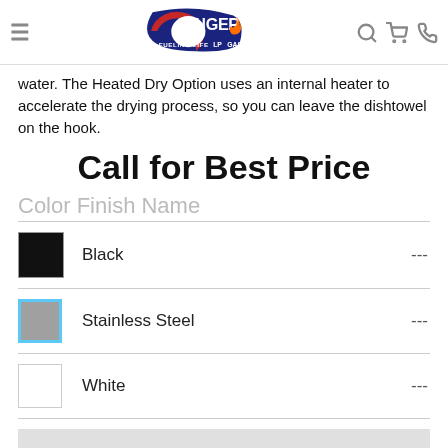Conger LP Gas — Fueling Life
water. The Heated Dry Option uses an internal heater to accelerate the drying process, so you can leave the dishtowel on the hook.
Call for Best Price
Color Finish Name
| Color | Name | Price |
| --- | --- | --- |
| Black swatch | Black | --- |
| Stainless Steel swatch | Stainless Steel | --- |
| White swatch | White | --- |
REQUEST MORE INFO